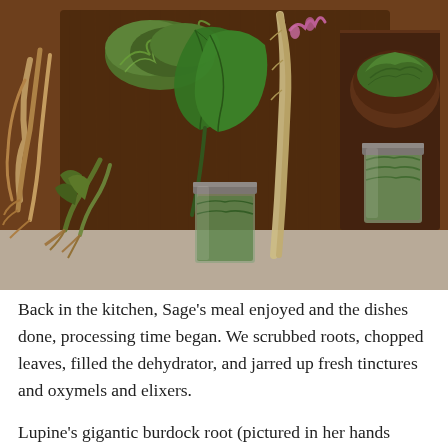[Figure (photo): Overhead photo on a wooden surface showing various foraged herbs and roots: large green leaves, mossy herbs, roots/stems, two glass mason jars filled with herbs, a wooden bowl with chopped greens, and other plant materials arranged on a dark wooden cutting board.]
Back in the kitchen, Sage's meal enjoyed and the dishes done, processing time began. We scrubbed roots, chopped leaves, filled the dehydrator, and jarred up fresh tinctures and oxymels and elixers.
Lupine's gigantic burdock root (pictured in her hands